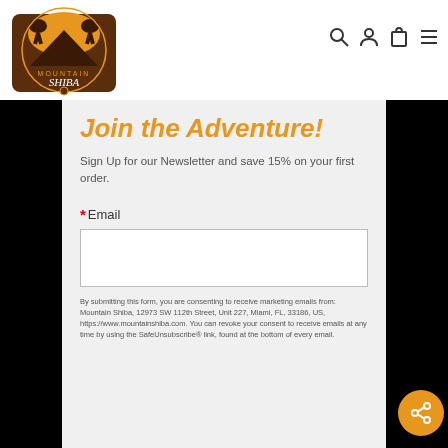[Figure (logo): Mountain Shiba logo with two dogs silhouetted against an orange/golden sun over mountains]
[Figure (infographic): Navigation icons: search (magnifying glass), account (person), cart (bag), menu (hamburger)]
Join the Adventure!
Sign Up for our Newsletter and save 15% on your first order.
*Email
By submitting this form, you are consenting to receive marketing emails from: Mountain Shiba, 12973 SW 112th Street, Unit 227, Miami, FL, 33186, US, https://www.mountainshiba.com. You can revoke your consent to receive emails at any time by using the SafeUnsubscribe® link, found at the bottom of every email.